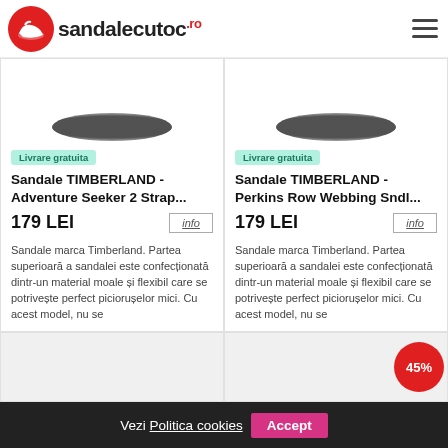sandalecutoc.ro
[Figure (photo): Partial view of a dark sandal, top portion cut off]
Livrare gratuita
Sandale TIMBERLAND - Adventure Seeker 2 Strap...
179 LEI
Sandale marca Timberland. Partea superioară a sandalei este confecționată dintr-un material moale și flexibil care se potrivește perfect piciorușelor mici. Cu acest model, nu se
[Figure (photo): Partial view of a dark sandal, top portion cut off]
Livrare gratuita
Sandale TIMBERLAND - Perkins Row Webbing Sndl...
179 LEI
Sandale marca Timberland. Partea superioară a sandalei este confecționată dintr-un material moale și flexibil care se potrivește perfect piciorușelor mici. Cu acest model, nu se
[Figure (photo): Bottom portion of product card, gray background]
[Figure (photo): Bottom portion of product card with 45% discount badge, gray background]
45%
Vezi Politica cookies  Accept